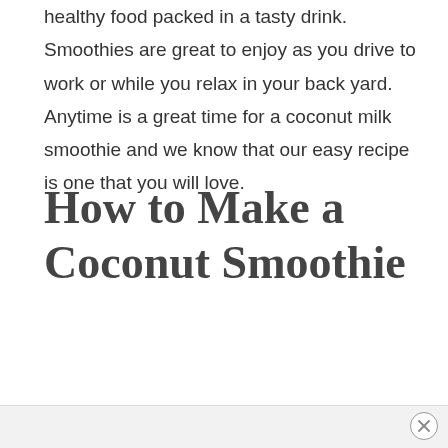healthy food packed in a tasty drink. Smoothies are great to enjoy as you drive to work or while you relax in your back yard. Anytime is a great time for a coconut milk smoothie and we know that our easy recipe is one that you will love.
How to Make a Coconut Smoothie
×